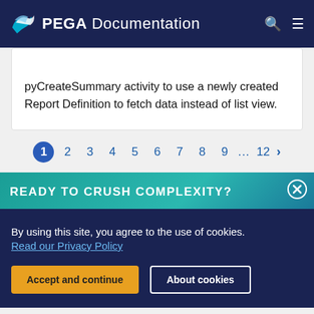PEGA Documentation
pyCreateSummary activity to use a newly created Report Definition to fetch data instead of list view.
1 2 3 4 5 6 7 8 9 ... 12 >
READY TO CRUSH COMPLEXITY?
By using this site, you agree to the use of cookies. Read our Privacy Policy
Accept and continue   About cookies